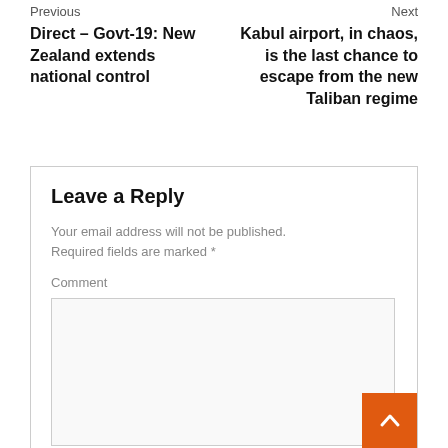Previous
Direct – Govt-19: New Zealand extends national control
Next
Kabul airport, in chaos, is the last chance to escape from the new Taliban regime
Leave a Reply
Your email address will not be published. Required fields are marked *
Comment